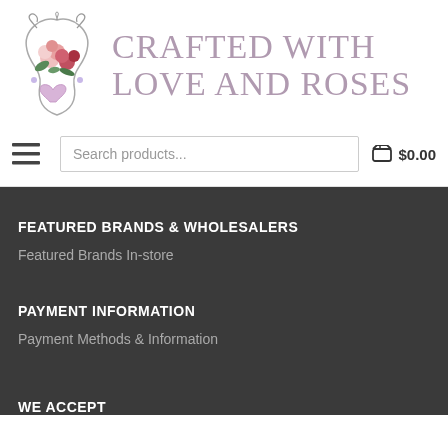[Figure (logo): Crafted With Love And Roses logo with decorative floral and heart imagery on a scrollwork design]
Crafted With Love And Roses
[Figure (other): Hamburger menu icon (three horizontal lines)]
Search products...
$0.00
FEATURED BRANDS & WHOLESALERS
Featured Brands In-store
PAYMENT INFORMATION
Payment Methods & Information
WE ACCEPT